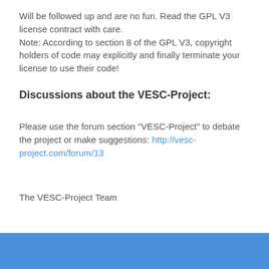Will be followed up and are no fun. Read the GPL V3 license contract with care.
Note: According to section 8 of the GPL V3, copyright holders of code may explicitly and finally terminate your license to use their code!
Discussions about the VESC-Project:
Please use the forum section "VESC-Project" to debate the project or make suggestions: http://vesc-project.com/forum/13
The VESC-Project Team